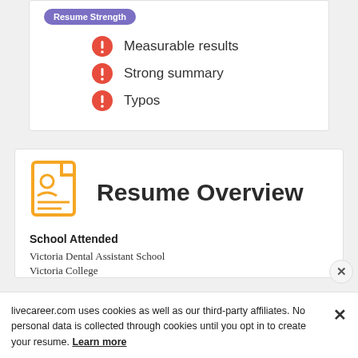[Figure (infographic): Resume Strength badge (purple pill) with three red exclamation icons and labels: Measurable results, Strong summary, Typos]
Measurable results
Strong summary
Typos
Resume Overview
School Attended
Victoria Dental Assistant School
Victoria College
Victoria West High School
livecareer.com uses cookies as well as our third-party affiliates. No personal data is collected through cookies until you opt in to create your resume. Learn more